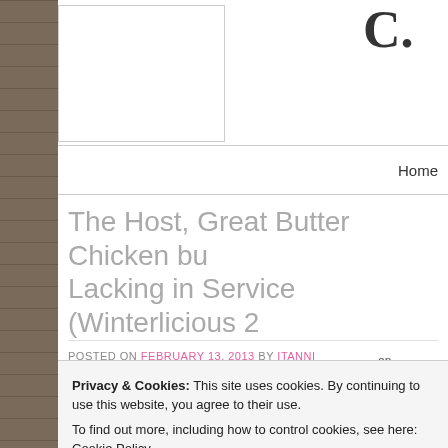[Figure (screenshot): Website screenshot showing a blog page with brick sidebar on left, white content area, partial logo at top right, navigation bar with Home link, post title partially visible, post metadata, cookie consent overlay, and partial body text.]
Home
The Host, Great Butter Chicken but Lacking in Service (Winterlicious 2...
POSTED ON FEBRUARY 13, 2013 BY ITANNI
Privacy & Cookies: This site uses cookies. By continuing to use this website, you agree to their use.
To find out more, including how to control cookies, see here: Cookie Policy
family was from India, and his mother made incredible Indian fo...